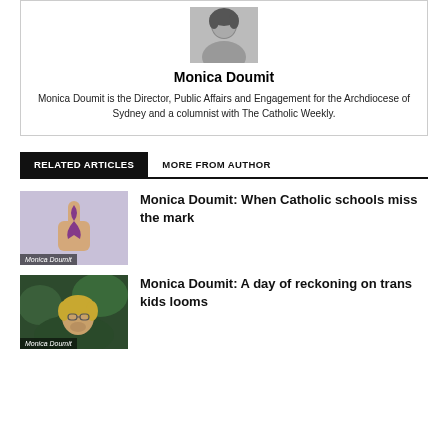[Figure (photo): Black and white headshot photo of Monica Doumit]
Monica Doumit
Monica Doumit is the Director, Public Affairs and Engagement for the Archdiocese of Sydney and a columnist with The Catholic Weekly.
RELATED ARTICLES | MORE FROM AUTHOR
[Figure (photo): Thumbnail image showing a hand holding a purple ribbon (awareness ribbon), with caption 'Monica Doumit']
Monica Doumit: When Catholic schools miss the mark
[Figure (photo): Thumbnail image of a blonde woman looking up outdoors, with caption 'Monica Doumit']
Monica Doumit: A day of reckoning on trans kids looms